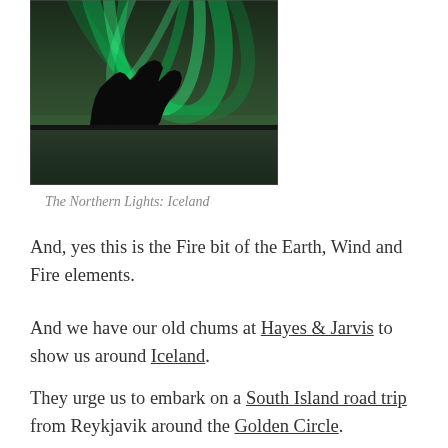[Figure (photo): Silhouette of a large rock formation shaped like a dinosaur or animal against a dramatic green Northern Lights aurora sky reflecting on water below]
The Northern Lights: Iceland
And, yes this is the Fire bit of the Earth, Wind and Fire elements.
And we have our old chums at Hayes & Jarvis to show us around Iceland.
They urge us to embark on a South Island road trip from Reykjavik around the Golden Circle.
And you'll take in the Strokkur Geyser, Gullfoss Waterfall and